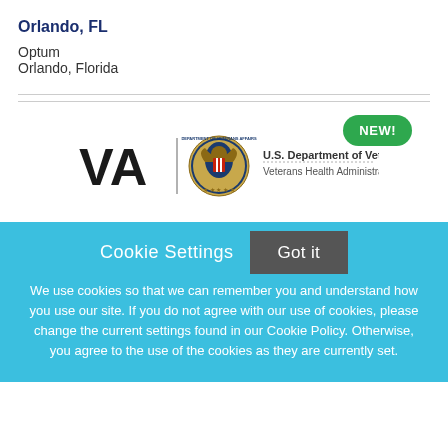Orlando, FL
Optum
Orlando, Florida
[Figure (logo): NEW! badge - green rounded pill button with white bold text]
[Figure (logo): U.S. Department of Veterans Affairs - Veterans Health Administration logo with VA text, vertical bar, eagle seal, and organization name text]
Cookie Settings
Got it
We use cookies so that we can remember you and understand how you use our site. If you do not agree with our use of cookies, please change the current settings found in our Cookie Policy. Otherwise, you agree to the use of the cookies as they are currently set.